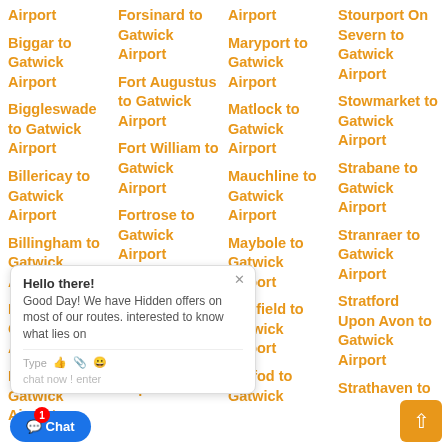Airport
Biggar to Gatwick Airport
Biggleswade to Gatwick Airport
Billericay to Gatwick Airport
Billingham to Gatwick Airport
Billingham to Gatwick Airport
Bilston to Gatwick Airport
Forsinard to Gatwick Airport
Fort Augustus to Gatwick Airport
Fort William to Gatwick Airport
Fortrose to Gatwick Airport
Fowey to Gatwick Airport
Fraserburgh to Gatwick Airport
Airport
Maryport to Gatwick Airport
Matlock to Gatwick Airport
Mauchline to Gatwick Airport
Maybole to Gatwick Airport
Mayfield to Gatwick Airport
Meifod to Gatwick
Stourport On Severn to Gatwick Airport
Stowmarket to Gatwick Airport
Strabane to Gatwick Airport
Stranraer to Gatwick Airport
Stratford Upon Avon to Gatwick Airport
Strathaven to